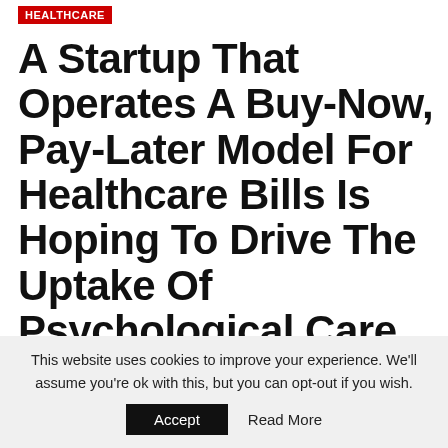HEALTHCARE
A Startup That Operates A Buy-Now, Pay-Later Model For Healthcare Bills Is Hoping To Drive The Uptake Of Psychological Care
This website uses cookies to improve your experience. We'll assume you're ok with this, but you can opt-out if you wish.